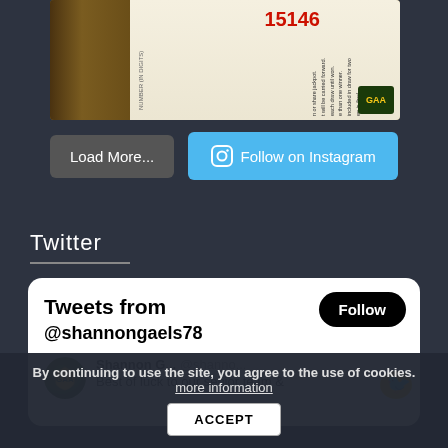[Figure (photo): A photo of a GAA lottery/lotto ticket or flyer showing the number 15146 in red, with text about jackpot rules and a GAA logo, resting on a wooden surface.]
Load More...
Follow on Instagram
Twitter
Tweets from @shannongaels78
Follow
Shannon G... @shanno... Best of luck to our senior team &
By continuing to use the site, you agree to the use of cookies. more information
ACCEPT